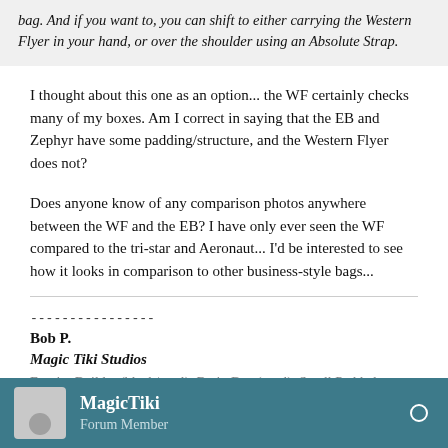bag. And if you want to, you can shift to either carrying the Western Flyer in your hand, or over the shoulder using an Absolute Strap.
I thought about this one as an option... the WF certainly checks many of my boxes. Am I correct in saying that the EB and Zephyr have some padding/structure, and the Western Flyer does not?
Does anyone know of any comparison photos anywhere between the WF and the EB? I have only ever seen the WF compared to the tri-star and Aeronaut... I'd be interested to see how it looks in comparison to other business-style bags...
----------------
Bob P.
Magic Tiki Studios
Empire Builder (black/steel), Brain Bag (steel), Small Padded Organizer Pouch, Clear Wallet, Soft Cell, Snake Charmer (cayenne) and assorted trimmings.
MagicTiki
Forum Member